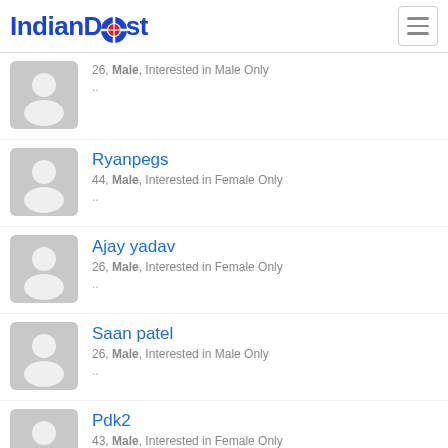IndianDost
26, Male, Interested in Male Only
Ryanpegs
44, Male, Interested in Female Only
Ajay yadav
26, Male, Interested in Female Only
Saan patel
26, Male, Interested in Male Only
Pdk2
43, Male, Interested in Female Only